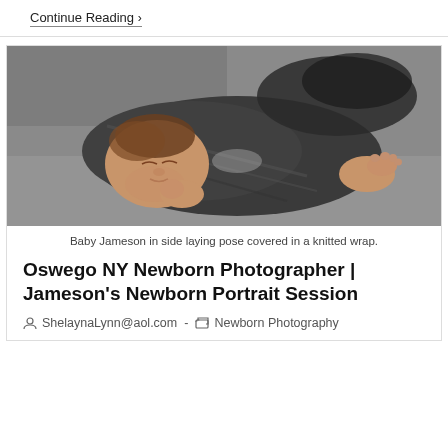Continue Reading ›
[Figure (photo): A newborn baby (Jameson) sleeping in a side-laying pose, wrapped in a dark grey knitted wrap, on a grey background.]
Baby Jameson in side laying pose covered in a knitted wrap.
Oswego NY Newborn Photographer | Jameson's Newborn Portrait Session
ShelaynaLynn@aol.com  -  Newborn Photography